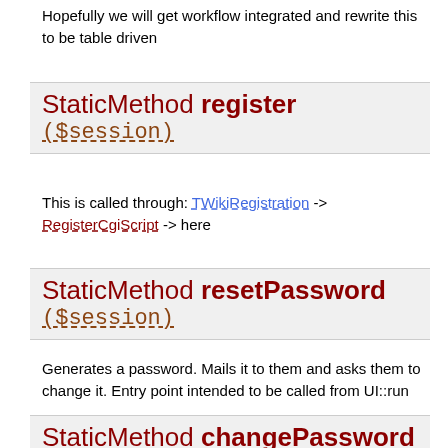Hopefully we will get workflow integrated and rewrite this to be table driven
StaticMethod register ($session)
This is called through: TWikiRegistration -> RegisterCgiScript -> here
StaticMethod resetPassword ($session)
Generates a password. Mails it to them and asks them to change it. Entry point intended to be called from UI::run
StaticMethod changePassword ($session)